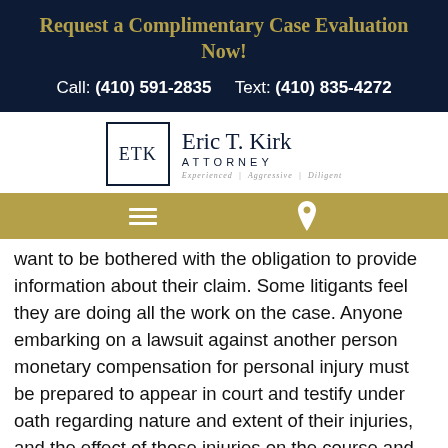Request a Complimentary Case Evaluation Now!
Call: (410) 591-2835     Text: (410) 835-4272
[Figure (logo): Eric T. Kirk Attorney logo with ETK monogram in a bordered box, name and tagline: Experienced | Aggressive | Diligent]
want to be bothered with the obligation to provide information about their claim. Some litigants feel they are doing all the work on the case. Anyone embarking on a lawsuit against another person monetary compensation for personal injury must be prepared to appear in court and testify under oath regarding nature and extent of their injuries, and the effect of those injuries on the course and flow of